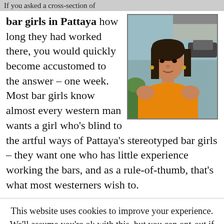If you asked a cross-section of
bar girls in Pattaya how long they had worked there, you would quickly become accustomed to the answer – one week.  Most bar girls know almost every western man wants a girl who's blind to the artful ways of Pattaya's stereotyped bar girls – they want one who has little experience working the bars, and as a rule-of-thumb, that's what most westerners wish to.
[Figure (photo): Photo of a Thai woman wearing an orange shirt, sitting in what appears to be an outdoor or semi-outdoor setting]
This website uses cookies to improve your experience. We'll assume you're ok with this, but you can opt-out if you wish.
Accept   Read More